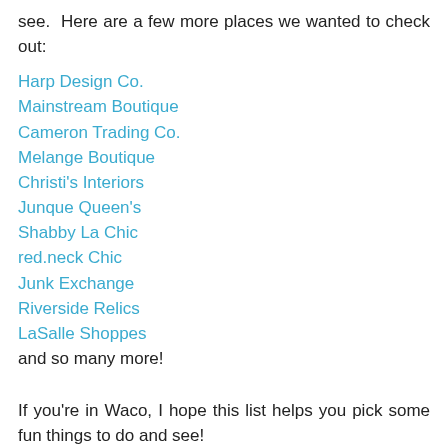see. Here are a few more places we wanted to check out:
Harp Design Co.
Mainstream Boutique
Cameron Trading Co.
Melange Boutique
Christi's Interiors
Junque Queen's
Shabby La Chic
red.neck Chic
Junk Exchange
Riverside Relics
LaSalle Shoppes
and so many more!
If you're in Waco, I hope this list helps you pick some fun things to do and see!